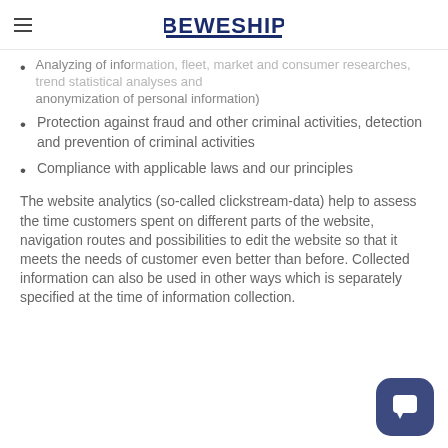BEWESHIP
Analyzing of information, fleet, market and consumer researches, trend statistical analyses and anonymization of personal information)
Protection against fraud and other criminal activities, detection and prevention of criminal activities
Compliance with applicable laws and our principles
The website analytics (so-called clickstream-data) help to assess the time customers spent on different parts of the website, navigation routes and possibilities to edit the website so that it meets the needs of customer even better than before. Collected information can also be used in other ways which is separately specified at the time of information collection.